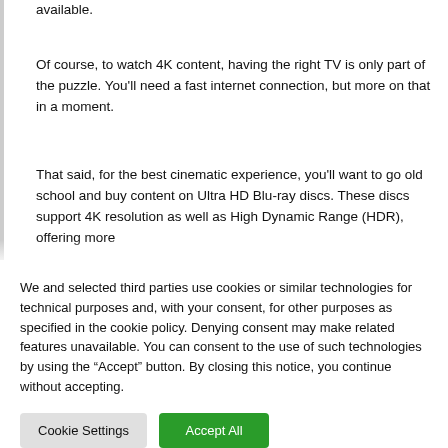available.
Of course, to watch 4K content, having the right TV is only part of the puzzle. You'll need a fast internet connection, but more on that in a moment.
That said, for the best cinematic experience, you'll want to go old school and buy content on Ultra HD Blu-ray discs. These discs support 4K resolution as well as High Dynamic Range (HDR), offering more
We and selected third parties use cookies or similar technologies for technical purposes and, with your consent, for other purposes as specified in the cookie policy. Denying consent may make related features unavailable. You can consent to the use of such technologies by using the “Accept” button. By closing this notice, you continue without accepting.